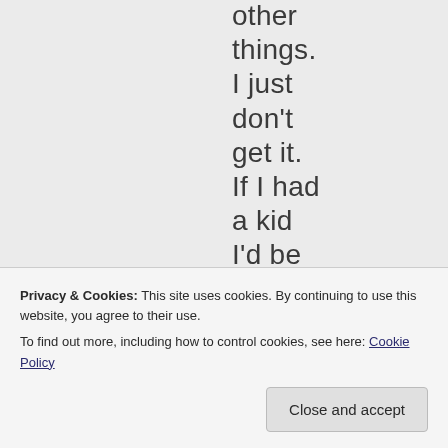other things. I just don't get it. If I had a kid I'd be teaching them
Privacy & Cookies: This site uses cookies. By continuing to use this website, you agree to their use.
To find out more, including how to control cookies, see here: Cookie Policy